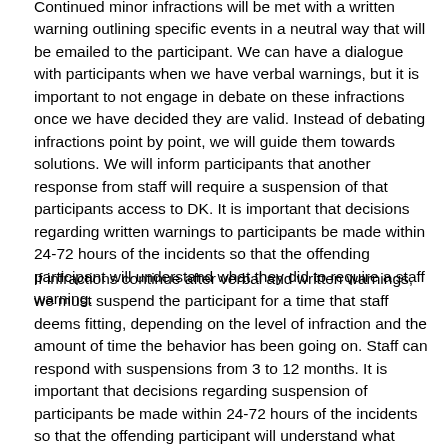Continued minor infractions will be met with a written warning outlining specific events in a neutral way that will be emailed to the participant. We can have a dialogue with participants when we have verbal warnings, but it is important to not engage in debate on these infractions once we have decided they are valid. Instead of debating infractions point by point, we will guide them towards solutions. We will inform participants that another response from staff will require a suspension of that participants access to DK. It is important that decisions regarding written warnings to participants be made within 24-72 hours of the incidents so that the offending participant will understand what they did to require a staff warning.
If infractions continue after verbal and written warnings, we must suspend the participant for a time that staff deems fitting, depending on the level of infraction and the amount of time the behavior has been going on. Staff can respond with suspensions from 3 to 12 months. It is important that decisions regarding suspension of participants be made within 24-72 hours of the incidents so that the offending participant will understand what they did to merit a suspension.